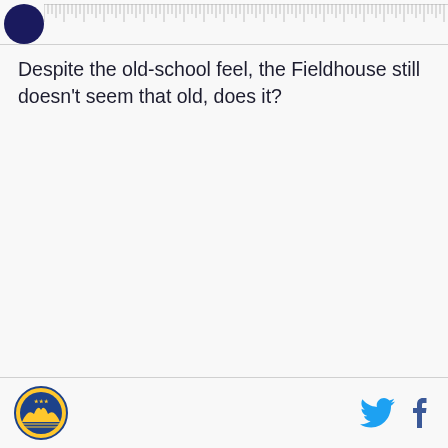[Figure (logo): Dark navy blue circular logo in top left corner]
[Figure (illustration): Ruler/measurement scale graphic extending horizontally across the top]
Despite the old-school feel, the Fieldhouse still doesn't seem that old, does it?
[Figure (logo): Golden State Warriors circular logo in bottom left footer]
[Figure (illustration): Twitter bird icon and Facebook f icon in bottom right footer]